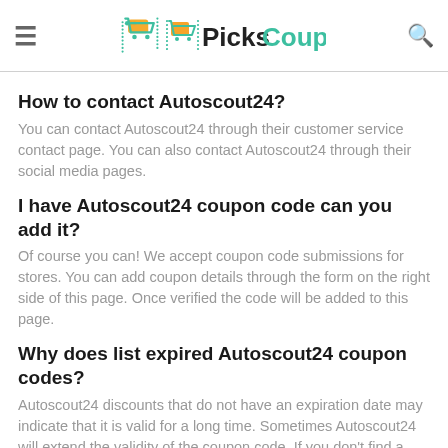PicksCoupon
How to contact Autoscout24?
You can contact Autoscout24 through their customer service contact page. You can also contact Autoscout24 through their social media pages.
I have Autoscout24 coupon code can you add it?
Of course you can! We accept coupon code submissions for stores. You can add coupon details through the form on the right side of this page. Once verified the code will be added to this page.
Why does list expired Autoscout24 coupon codes?
Autoscout24 discounts that do not have an expiration date may indicate that it is valid for a long time. Sometimes Autoscout24 will extend the validity of the coupon code. If you don't find a suitable discount, you can try them. It may still work.